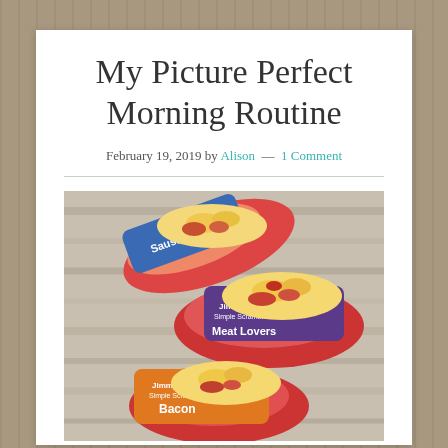My Picture Perfect Morning Routine
February 19, 2019 by Alison — 1 Comment
[Figure (photo): Three Jimmy Dean Simple Scrambles cups (Sausage, Meat Lovers, Bacon varieties) arranged on a wooden surface, showing scrambled egg contents]